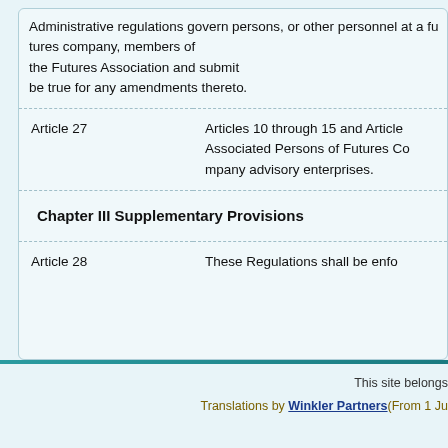Administrative regulations govern persons, or other personnel at a futures company, members of the Futures Association and submit... be true for any amendments thereto.
Article 27   Articles 10 through 15 and Article... Associated Persons of Futures Co... advisory enterprises.
Chapter III Supplementary Provisions
Article 28   These Regulations shall be enfo...
This site belongs... Translations by Winkler Partners(From 1 Ju...